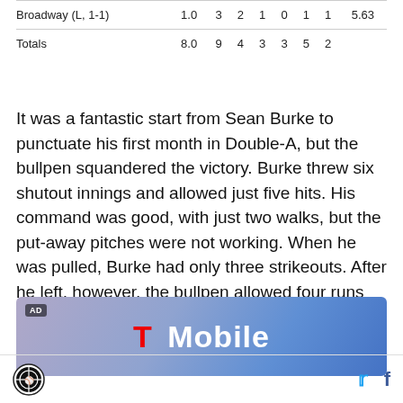| Broadway (L, 1-1) | 1.0 | 3 | 2 | 1 | 0 | 1 | 1 | 5.63 |
| Totals | 8.0 | 9 | 4 | 3 | 3 | 5 | 2 |  |
It was a fantastic start from Sean Burke to punctuate his first month in Double-A, but the bullpen squandered the victory. Burke threw six shutout innings and allowed just five hits. His command was good, with just two walks, but the put-away pitches were not working. When he was pulled, Burke had only three strikeouts. After he left, however, the bullpen allowed four runs (three earned) to blow the great start.
[Figure (other): T-Mobile advertisement banner with gradient purple-blue background and T-Mobile logo]
Site logo | Twitter and Facebook social share icons